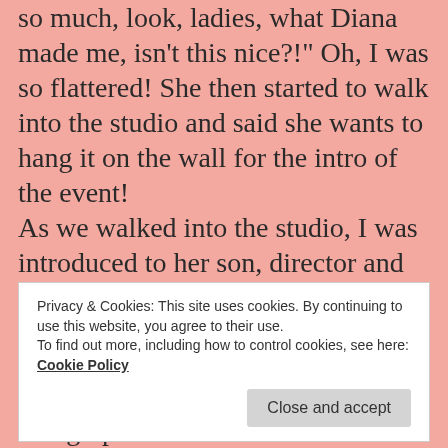so much, look, ladies, what Diana made me, isn't this nice?!" Oh, I was so flattered! She then started to walk into the studio and said she wants to hang it on the wall for the intro of the event!
As we walked into the studio, I was introduced to her son, director and camera man, Orion Burns. They are all just such kind, down to earth people,
Privacy & Cookies: This site uses cookies. By continuing to use this website, you agree to their use.
To find out more, including how to control cookies, see here: Cookie Policy
I was able to get my book autographed